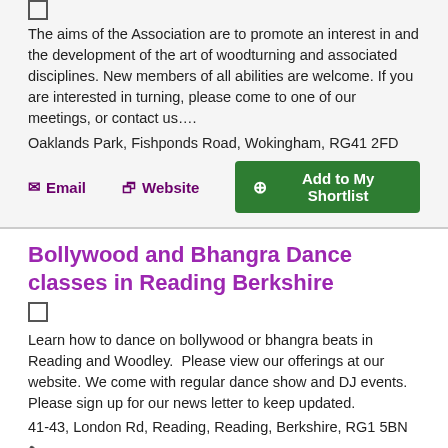The aims of the Association are to promote an interest in and the development of the art of woodturning and associated disciplines. New members of all abilities are welcome. If you are interested in turning, please come to one of our meetings, or contact us….
Oaklands Park, Fishponds Road, Wokingham, RG41 2FD
Bollywood and Bhangra Dance classes in Reading Berkshire
Learn how to dance on bollywood or bhangra beats in Reading and Woodley.  Please view our offerings at our website. We come with regular dance show and DJ events. Please sign up for our news letter to keep updated.
41-43, London Rd, Reading, Reading, Berkshire, RG1 5BN